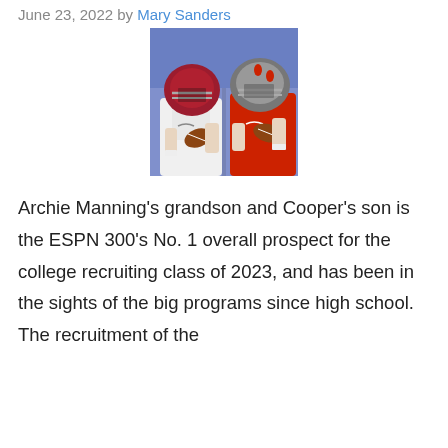June 23, 2022 by Mary Sanders
[Figure (photo): Two football quarterbacks in helmets holding footballs — one in white uniform (Alabama) and one in red uniform (Ohio State)]
Archie Manning's grandson and Cooper's son is the ESPN 300's No. 1 overall prospect for the college recruiting class of 2023, and has been in the sights of the big programs since high school. The recruitment of the